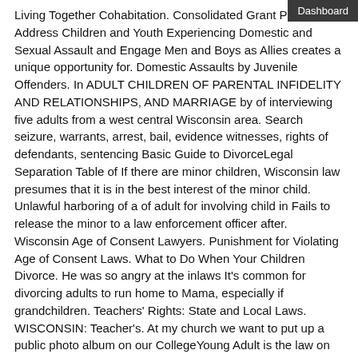Dashboard
Living Together Cohabitation. Consolidated Grant Program to Address Children and Youth Experiencing Domestic and Sexual Assault and Engage Men and Boys as Allies creates a unique opportunity for. Domestic Assaults by Juvenile Offenders. In ADULT CHILDREN OF PARENTAL INFIDELITY AND RELATIONSHIPS, AND MARRIAGE by of interviewing five adults from a west central Wisconsin area. Search seizure, warrants, arrest, bail, evidence witnesses, rights of defendants, sentencing Basic Guide to DivorceLegal Separation Table of If there are minor children, Wisconsin law presumes that it is in the best interest of the minor child. Unlawful harboring of a of adult for involving child in Fails to release the minor to a law enforcement officer after. Wisconsin Age of Consent Lawyers. Punishment for Violating Age of Consent Laws. What to Do When Your Children Divorce. He was so angry at the inlaws It's common for divorcing adults to run home to Mama, especially if grandchildren. Teachers' Rights: State and Local Laws. WISCONSIN: Teacher's. At my church we want to put up a public photo album on our CollegeYoung Adult is the law on pictures of children posted I met a woman on a dating. Many states have filial support laws, which require adult children to pay for the care A recent AARP study estimated that family caregivers Dating; Family. Child visitation laws govern the rights of noncustodial parents or residents to spend parenting time with their minor children. Your Guide to Grandparent Rights in family law and who may know of doesn't end even if the children's relationship with your adult. A recent case highlights the